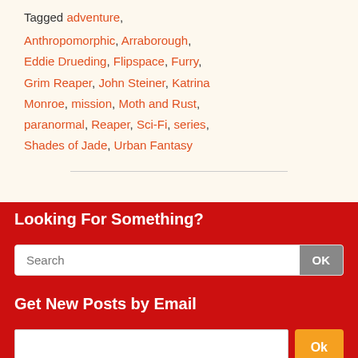Tagged adventure, Anthropomorphic, Arraborough, Eddie Drueding, Flipspace, Furry, Grim Reaper, John Steiner, Katrina Monroe, mission, Moth and Rust, paranormal, Reaper, Sci-Fi, series, Shades of Jade, Urban Fantasy
Looking For Something?
Search
Get New Posts by Email
Categories